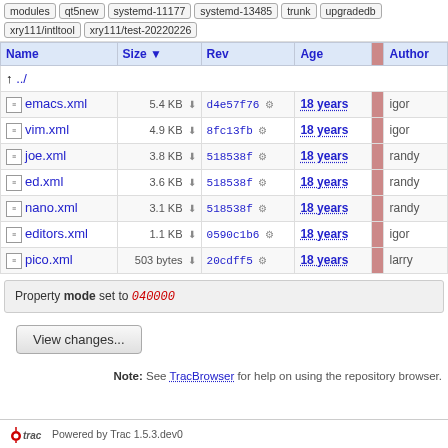modules | qt5new | systemd-11177 | systemd-13485 | trunk | upgradedb | xry111/intltool | xry111/test-20220226
| Name | Size ▼ | Rev | Age | Author |
| --- | --- | --- | --- | --- |
| ../ |  |  |  |  |
| emacs.xml | 5.4 KB | d4e57f76 | 18 years | igor |
| vim.xml | 4.9 KB | 8fc13fb | 18 years | igor |
| joe.xml | 3.8 KB | 518538f | 18 years | randy |
| ed.xml | 3.6 KB | 518538f | 18 years | randy |
| nano.xml | 3.1 KB | 518538f | 18 years | randy |
| editors.xml | 1.1 KB | 0590c1b6 | 18 years | igor |
| pico.xml | 503 bytes | 20cdff5 | 18 years | larry |
Property mode set to 040000
View changes...
Note: See TracBrowser for help on using the repository browser.
Powered by Trac 1.5.3.dev0